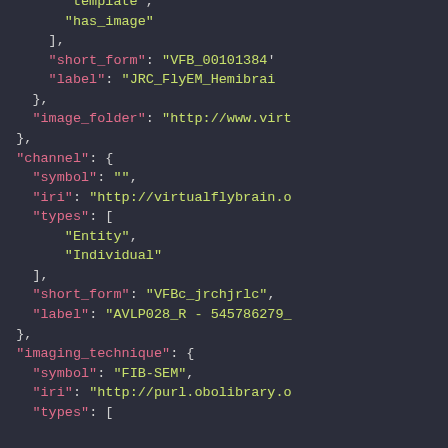JSON/code snippet showing template, has_image, short_form, label, image_folder, channel, symbol, iri, types, Entity, Individual, short_form VFBc_jrchjrlc, label AVLP028_R - 545786279_, imaging_technique, symbol FIB-SEM, iri, types fields